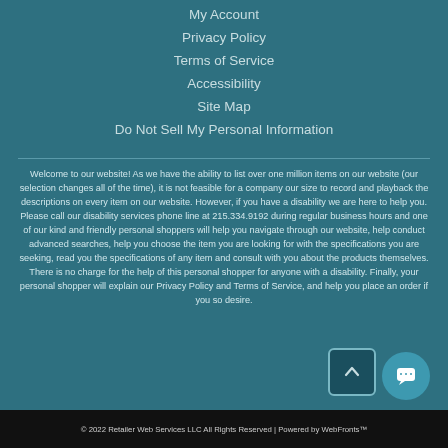My Account
Privacy Policy
Terms of Service
Accessibility
Site Map
Do Not Sell My Personal Information
Welcome to our website! As we have the ability to list over one million items on our website (our selection changes all of the time), it is not feasible for a company our size to record and playback the descriptions on every item on our website. However, if you have a disability we are here to help you. Please call our disability services phone line at 215.334.9192 during regular business hours and one of our kind and friendly personal shoppers will help you navigate through our website, help conduct advanced searches, help you choose the item you are looking for with the specifications you are seeking, read you the specifications of any item and consult with you about the products themselves. There is no charge for the help of this personal shopper for anyone with a disability. Finally, your personal shopper will explain our Privacy Policy and Terms of Service, and help you place an order if you so desire.
© 2022 Retailer Web Services LLC All Rights Reserved | Powered by WebFronts™